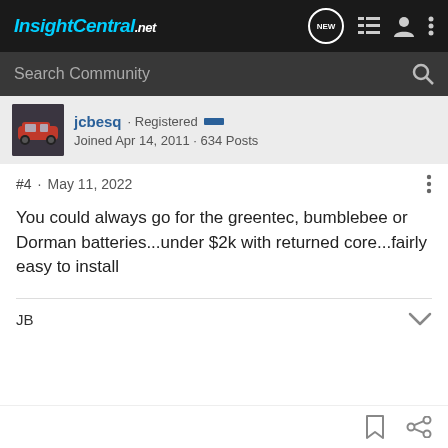InsightCentral.net
Search Community
jcbesq · Registered
Joined Apr 14, 2011 · 634 Posts
#4 · May 11, 2022
You could always go for the greentec, bumblebee or Dorman batteries...under $2k with returned core...fairly easy to install
JB